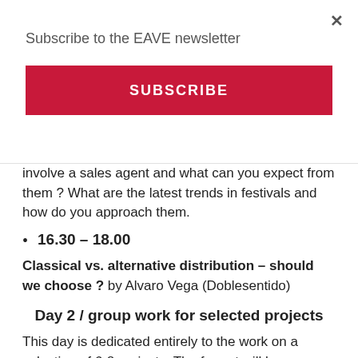Subscribe to the EAVE newsletter
SUBSCRIBE
involve a sales agent and what can you expect from them ? What are the latest trends in festivals and how do you approach them.
16.30 – 18.00
Classical vs. alternative distribution – should we choose ? by Alvaro Vega (Doblesentido)
Day 2 / group work for selected projects
This day is dedicated entirely to the work on a selection of 6-8 projects. The format will be group work guided by